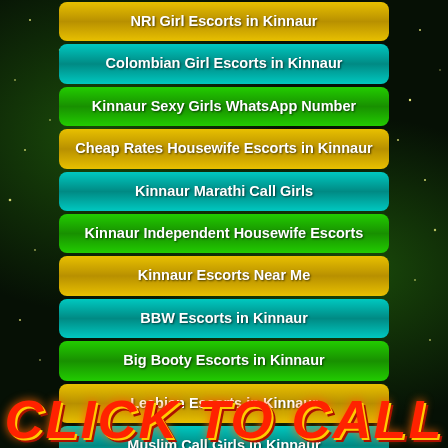NRI Girl Escorts in Kinnaur
Colombian Girl Escorts in Kinnaur
Kinnaur Sexy Girls WhatsApp Number
Cheap Rates Housewife Escorts in Kinnaur
Kinnaur Marathi Call Girls
Kinnaur Independent Housewife Escorts
Kinnaur Escorts Near Me
BBW Escorts in Kinnaur
Big Booty Escorts in Kinnaur
Lesbian Escorts in Kinnaur
Muslim Call Girls in Kinnaur
High End Kinnaur Escorts
Bengali TV Actress Escorts in Kinnaur
CLICK TO CALL